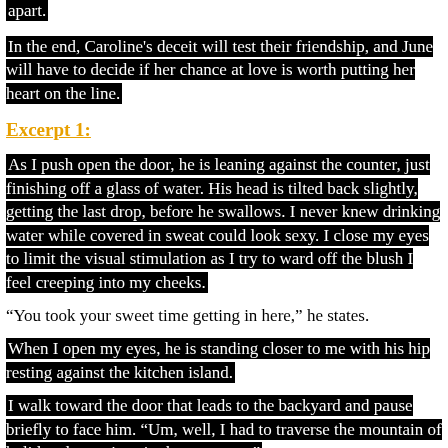apart.
In the end, Caroline's deceit will test their friendship, and June will have to decide if her chance at love is worth putting her heart on the line.
Excerpt 1:
As I push open the door, he is leaning against the counter, just finishing off a glass of water. His head is tilted back slightly, getting the last drop, before he swallows. I never knew drinking water while covered in sweat could look sexy. I close my eyes to limit the visual stimulation as I try to ward off the blush I feel creeping into my cheeks.
“You took your sweet time getting in here,” he states.
When I open my eyes, he is standing closer to me with his hip resting against the kitchen island.
I walk toward the door that leads to the backyard and pause briefly to face him. “Um, well, I had to traverse the mountain of holiday decorations in the entryway.”